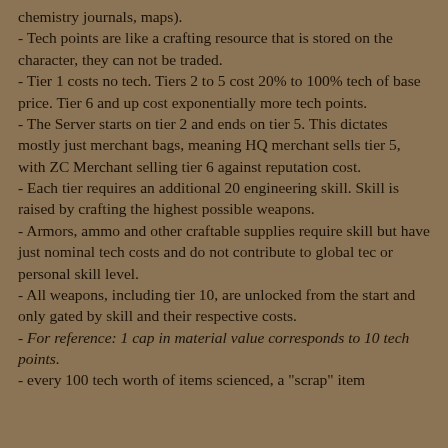chemistry journals, maps).
- Tech points are like a crafting resource that is stored on the character, they can not be traded.
- Tier 1 costs no tech. Tiers 2 to 5 cost 20% to 100% tech of base price. Tier 6 and up cost exponentially more tech points.
- The Server starts on tier 2 and ends on tier 5. This dictates mostly just merchant bags, meaning HQ merchant sells tier 5, with ZC Merchant selling tier 6 against reputation cost.
- Each tier requires an additional 20 engineering skill. Skill is raised by crafting the highest possible weapons.
- Armors, ammo and other craftable supplies require skill but have just nominal tech costs and do not contribute to global tec or personal skill level.
- All weapons, including tier 10, are unlocked from the start and only gated by skill and their respective costs.
- For reference: 1 cap in material value corresponds to 10 tech points.
- every 100 tech worth of items scienced, a "scrap" item